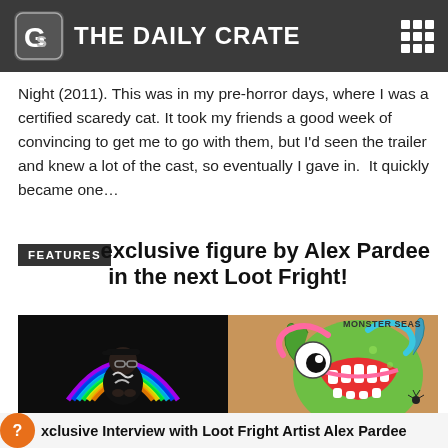THE DAILY CRATE
Night (2011). This was in my pre-horror days, where I was a certified scaredy cat. It took my friends a good week of convincing to get me to go with them, but I'd seen the trailer and knew a lot of the cast, so eventually I gave in.  It quickly became one…
FEATURES
Get an exclusive figure by Alex Pardee in the next Loot Fright!
[Figure (photo): Left side: A man wearing glasses and a black cap standing in front of a neon rainbow arc installation, looking at glowing neon signs. Right side: Colorful cartoon monster illustration with a large open mouth, bulging eye, and vibrant colors (green, pink, blue); Monster Seas text in upper right corner.]
Exclusive Interview with Loot Fright Artist Alex Pardee